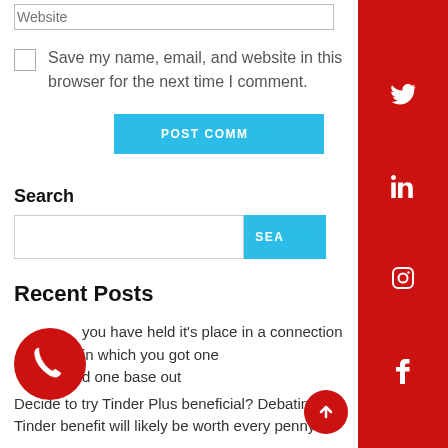Website (input field)
Save my name, email, and website in this browser for the next time I comment.
POST COMMENT
Search
SEARCH (button)
Recent Posts
Do you have held it's place in a connection in which you got one and one base out
Decide to try Tinder Plus beneficial? Debating if Tinder benefit will likely be worth every penny?
[Figure (other): Red social media sidebar with Twitter, LinkedIn, Instagram, and Facebook icons]
[Figure (other): Red circular phone icon button]
[Figure (other): Red circular scroll-to-top arrow button]